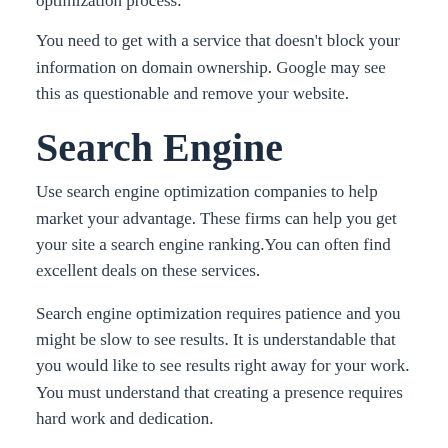optimization process.
You need to get with a service that doesn't block your information on domain ownership. Google may see this as questionable and remove your website.
Search Engine
Use search engine optimization companies to help market your advantage. These firms can help you get your site a search engine ranking.You can often find excellent deals on these services.
Search engine optimization requires patience and you might be slow to see results. It is understandable that you would like to see results right away for your work. You must understand that creating a presence requires hard work and dedication.
For more along...